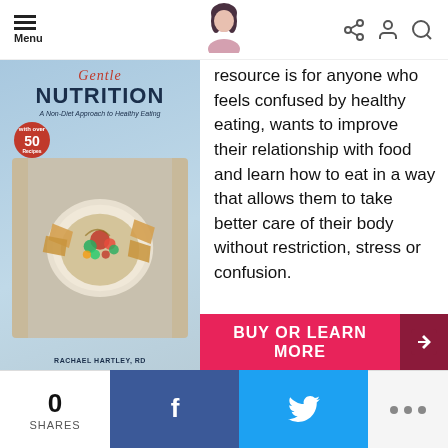Menu
[Figure (photo): Book cover: Gentle Nutrition - A Non-Diet Approach to Healthy Eating, by Rachael Hartley, RD, with over 50 recipes badge and food photo]
resource is for anyone who feels confused by healthy eating, wants to improve their relationship with food and learn how to eat in a way that allows them to take better care of their body without restriction, stress or confusion.
BUY OR LEARN MORE
0 SHARES